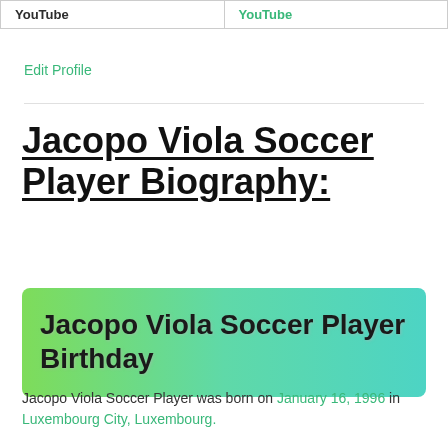| YouTube | YouTube |
| --- | --- |
Edit Profile
Jacopo Viola Soccer Player Biography:
[Figure (infographic): Green to teal gradient highlighted box with bold text: 'Jacopo Viola Soccer Player Birthday']
Jacopo Viola Soccer Player was born on January 16, 1996 in Luxembourg City, Luxembourg.